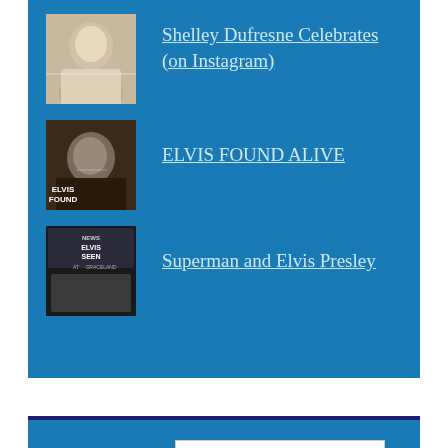Shelley Dufresne Celebrates (on Instagram)
ELVIS FOUND ALIVE
Superman and Elvis Presley
Archives
Select Month